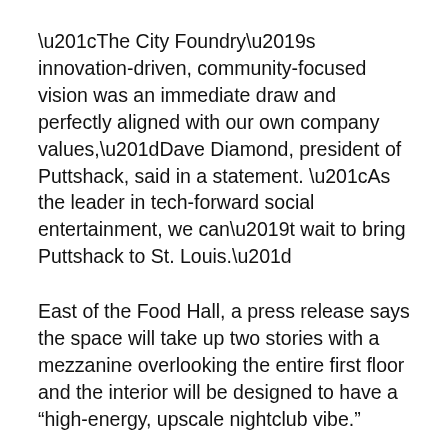“The City Foundry’s innovation-driven, community-focused vision was an immediate draw and perfectly aligned with our own company values,”Dave Diamond, president of Puttshack, said in a statement. “As the leader in tech-forward social entertainment, we can’t wait to bring Puttshack to St. Louis.”
East of the Food Hall, a press release says the space will take up two stories with a mezzanine overlooking the entire first floor and the interior will be designed to have a “high-energy, upscale nightclub vibe.”
Four courses are planned for the area, with each being highly competitive and tech-heavy. The games have automated scoring so players can